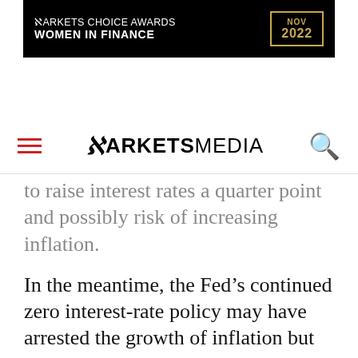[Figure (logo): Markets Choice Awards Women in Finance NOV 2022 banner advertisement on black background with gold border around date]
MARKETS MEDIA
to raise interest rates a quarter point and possibly risk of increasing inflation.
In the meantime, the Fed’s continued zero interest-rate policy may have arrested the growth of inflation but the low rates have introduced financial asset inflation instead.
“A decade ago I could get an investor $50,000 in income from $1 million-portfolio, but now that has shrunk to $15,000 or $20,000 annually,” he said. “Most people with those